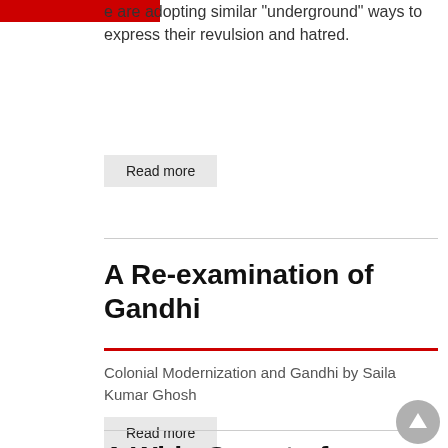e are adopting similar "underground" ways to express their revulsion and hatred.
Read more
A Re-examination of Gandhi
Colonial Modernization and Gandhi by Saila Kumar Ghosh
Read more
[Figure (illustration): Circular scroll-to-top button with upward arrow]
A Wide Gamut of